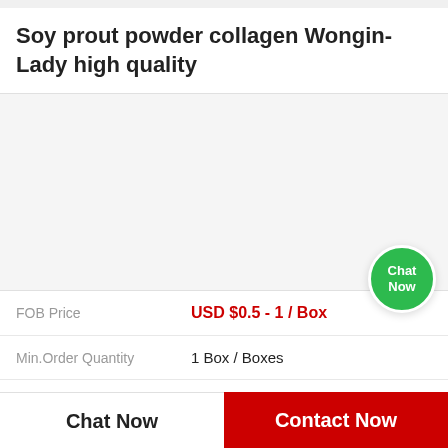Soy prout powder collagen Wongin-Lady high quality
[Figure (other): Product image placeholder area, light gray background]
| Field | Value |
| --- | --- |
| FOB Price | USD $0.5 - 1 / Box |
| Min.Order Quantity | 1 Box / Boxes |
| Supply Ability | 1 Box / Boxes per Month |
| Port | Hai Phong Vietnam |
Chat Now
Contact Now